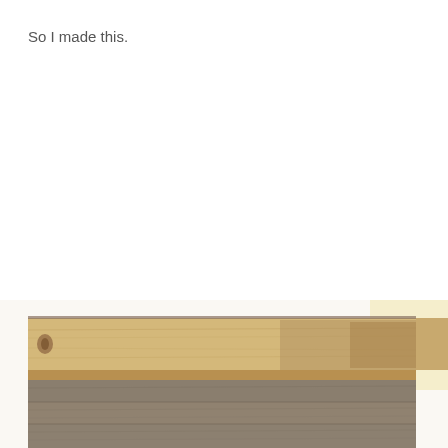So I made this.
[Figure (photo): Photograph of a wooden object (appears to be a pallet or reclaimed wood furniture piece), showing light natural wood planks on top and darker grey-toned wood planks below, photographed against a white/cream background. Only the top portion of the object is visible as the image is cropped at the bottom of the page.]